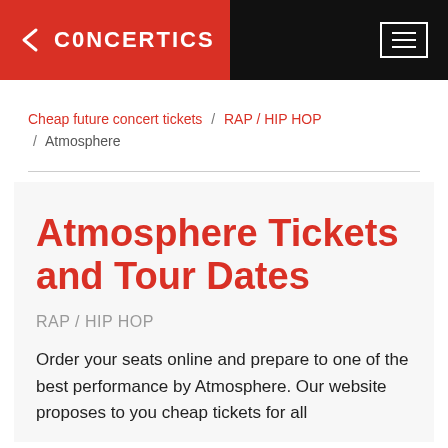CONCERTICS
Cheap future concert tickets / RAP / HIP HOP / Atmosphere
Atmosphere Tickets and Tour Dates
RAP / HIP HOP
Order your seats online and prepare to one of the best performance by Atmosphere. Our website proposes to you cheap tickets for all